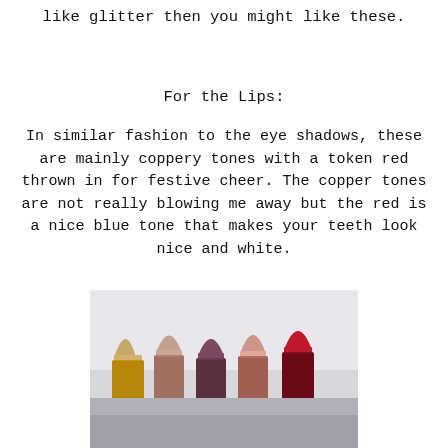like glitter then you might like these.
For the Lips:
In similar fashion to the eye shadows, these are mainly coppery tones with a token red thrown in for festive cheer. The copper tones are not really blowing me away but the red is a nice blue tone that makes your teeth look nice and white.
[Figure (photo): Five lipsticks in gold tubes displayed side by side, ranging from champagne/gold, taupe, dark mauve/brown, shimmery pink, to deep red.]